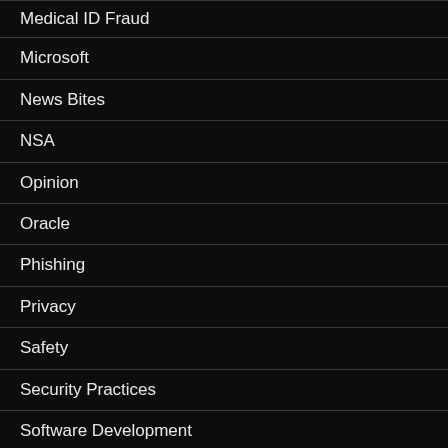Medical ID Fraud
Microsoft
News Bites
NSA
Opinion
Oracle
Phishing
Privacy
Safety
Security Practices
Software Development
Uncategorized